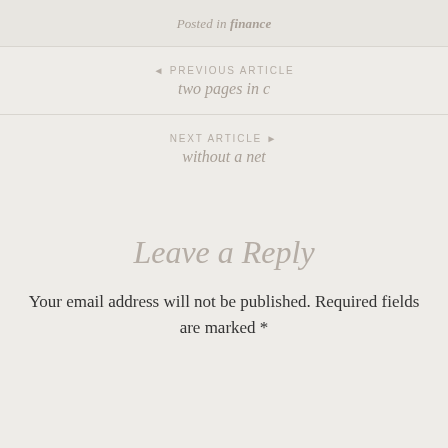Posted in finance
◄ PREVIOUS ARTICLE
two pages in c
NEXT ARTICLE ►
without a net
Leave a Reply
Your email address will not be published. Required fields are marked *